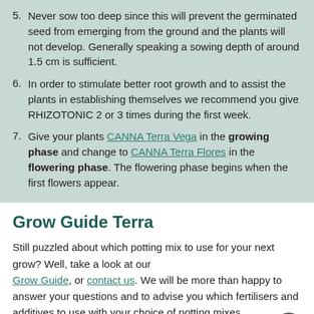5. Never sow too deep since this will prevent the germinated seed from emerging from the ground and the plants will not develop. Generally speaking a sowing depth of around 1.5 cm is sufficient.
6. In order to stimulate better root growth and to assist the plants in establishing themselves we recommend you give RHIZOTONIC 2 or 3 times during the first week.
7. Give your plants CANNA Terra Vega in the growing phase and change to CANNA Terra Flores in the flowering phase. The flowering phase begins when the first flowers appear.
Grow Guide Terra
Still puzzled about which potting mix to use for your next grow? Well, take a look at our Grow Guide, or contact us. We will be more than happy to answer your questions and to advise you which fertilisers and additives to use with your choice of potting mixes.